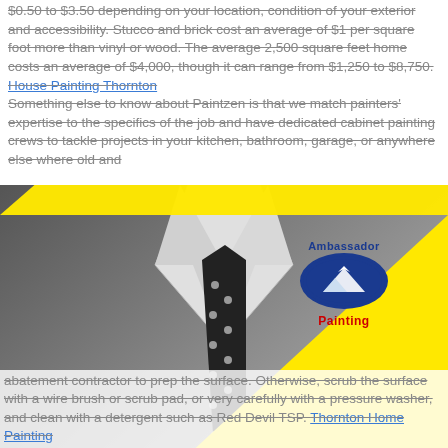$0.50 to $3.50 depending on your location, condition of your exterior and accessibility. Stucco and brick cost an average of $1 per square foot more than vinyl or wood. The average 2,500 square feet home costs an average of $4,000, though it can range from $1,250 to $8,750. House Painting Thornton Something else to know about Paintzen is that we match painters' expertise to the specifics of the job and have dedicated cabinet painting crews to tackle projects in your kitchen, bathroom, garage, or anywhere else where old and
[Figure (photo): Black and white photo of a man in a white shirt and polka-dot tie with a pocket square, wearing an Ambassador Painting logo badge. A large yellow triangle overlays the bottom-right portion of the image.]
abatement contractor to prep the surface. Otherwise, scrub the surface with a wire brush or scrub pad, or very carefully with a pressure washer, and clean with a detergent such as Red Devil TSP. Thornton Home Painting